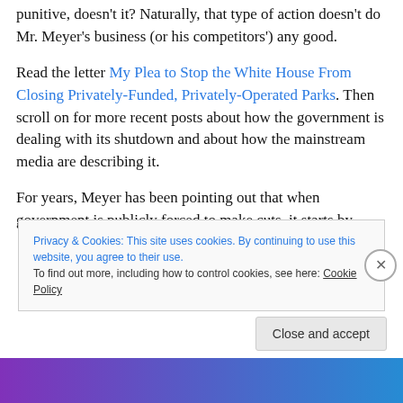punitive, doesn't it? Naturally, that type of action doesn't do Mr. Meyer's business (or his competitors') any good.
Read the letter My Plea to Stop the White House From Closing Privately-Funded, Privately-Operated Parks. Then scroll on for more recent posts about how the government is dealing with its shutdown and about how the mainstream media are describing it.
For years, Meyer has been pointing out that when government is publicly forced to make cuts, it starts by
Privacy & Cookies: This site uses cookies. By continuing to use this website, you agree to their use.
To find out more, including how to control cookies, see here: Cookie Policy
Close and accept